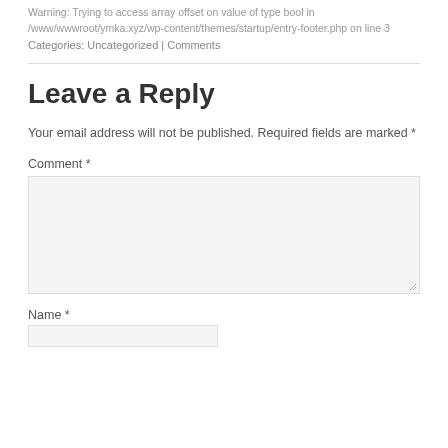Warning: Trying to access array offset on value of type bool in /www/wwwroot/ymka.xyz/wp-content/themes/startup/entry-footer.php on line 3
Categories: Uncategorized | Comments
Leave a Reply
Your email address will not be published. Required fields are marked *
Comment *
Name *